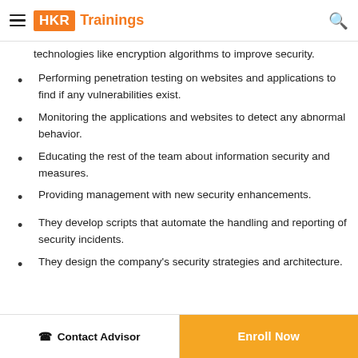HKR Trainings
technologies like encryption algorithms to improve security.
Performing penetration testing on websites and applications to find if any vulnerabilities exist.
Monitoring the applications and websites to detect any abnormal behavior.
Educating the rest of the team about information security and measures.
Providing management with new security enhancements.
They develop scripts that automate the handling and reporting of security incidents.
They design the company's security strategies and architecture.
Contact Advisor | Enroll Now